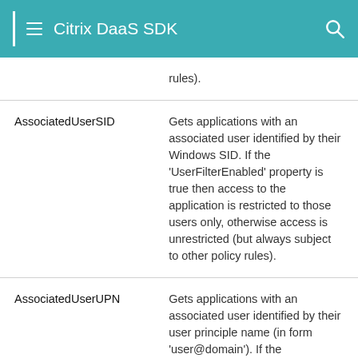Citrix DaaS SDK
| Property | Description |
| --- | --- |
|  | rules). |
| AssociatedUserSID | Gets applications with an associated user identified by their Windows SID. If the 'UserFilterEnabled' property is true then access to the application is restricted to those users only, otherwise access is unrestricted (but always subject to other policy rules). |
| AssociatedUserUPN | Gets applications with an associated user identified by their user principle name (in form 'user@domain'). If the 'UserFilterEnabled' property is true then access to the |